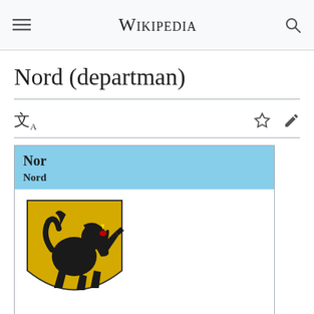Wikipedia
Nord (departman)
[Figure (screenshot): Wikipedia mobile infobox for Nord (departman) showing coat of arms (a golden shield with black lion) and a map of France with the Nord department highlighted in red in the northern region]
Nor
Nord